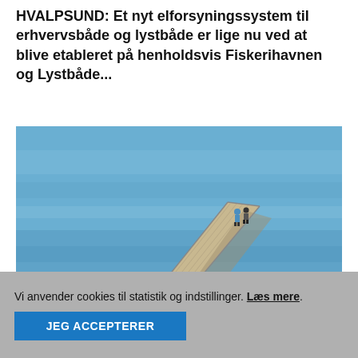HVALPSUND: Et nyt elforsyningssystem til erhvervsbåde og lystbåde er lige nu ved at blive etableret på henholdsvis Fiskerihavnen og Lystbåde...
[Figure (photo): Photo of a wooden pier/dock extending diagonally into calm blue water, with two people standing at the end. Rocky shoreline visible in the foreground.]
BADEBRO | ERTEBØLLE
Vi anvender cookies til statistik og indstillinger. Læs mere.
JEG ACCEPTERER